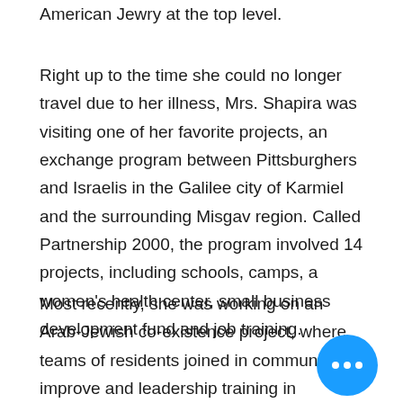American Jewry at the top level.
Right up to the time she could no longer travel due to her illness, Mrs. Shapira was visiting one of her favorite projects, an exchange program between Pittsburghers and Israelis in the Galilee city of Karmiel and the surrounding Misgav region. Called Partnership 2000, the program involved 14 projects, including schools, camps, a women's health center, small business development fund and job training.
Most recently, she was working on an Arab-Jewish co-existence project, where teams of residents joined in community improvement and leadership training in conjunction with...